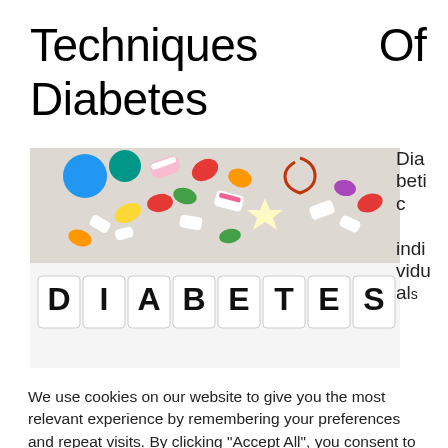Techniques Of Treating Diabetes
[Figure (photo): Photo showing candy/sweets scattered on a white surface with letter tiles spelling out DIABETES below them. The word DIABETES is spelled with individual white cards with black letters.]
Diabetic individuals
We use cookies on our website to give you the most relevant experience by remembering your preferences and repeat visits. By clicking "Accept All", you consent to the use of ALL the cookies. However, you may visit "Cookie Settings" to provide a controlled consent.
Cookie Settings
Accept All